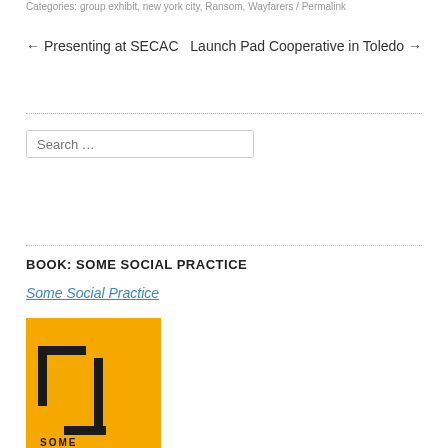Categories: group exhibit, new york city, Ransom, Wayfarers / Permalink
← Presenting at SECAC    Launch Pad Cooperative in Toledo →
Search …
BOOK: SOME SOCIAL PRACTICE
Some Social Practice
[Figure (photo): Book cover with yellow/orange background and black geometric bracket/square design, with partial text at the bottom reading 'SOME']